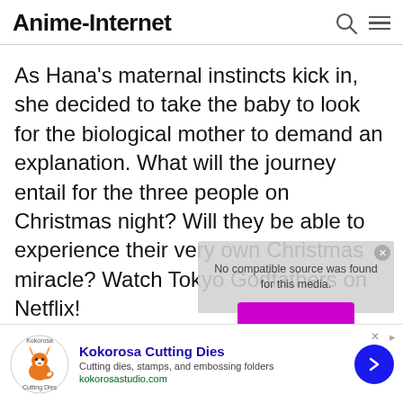Anime-Internet
As Hana's maternal instincts kick in, she decided to take the baby to look for the biological mother to demand an explanation. What will the journey entail for the three people on Christmas night? Will they be able to experience their very own Christmas miracle? Watch Tokyo Godfathers on Netflix!
[Figure (screenshot): Video player overlay showing 'No compatible source was found for this media.' message with a purple play button below]
[Figure (logo): Kokorosa Cutting Dies advertisement with fox logo, text 'Cutting dies, stamps, and embossing folders', URL kokorosastudio.com, and blue arrow button]